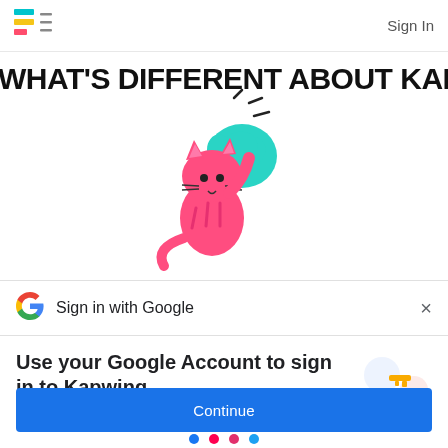[Figure (logo): Kapwing logo: colored horizontal bars icon and hamburger menu icon]
Sign In
WHAT'S DIFFERENT ABOUT KAPWING?
[Figure (illustration): Pink cartoon cat hugging a teal heart shape with sparkle lines]
[Figure (logo): Google 'G' multicolor logo]
Sign in with Google
×
Use your Google Account to sign in to Kapwing
No more passwords to remember.
Signing in is fast, simple and secure.
[Figure (illustration): Google sign-in illustration: gold key and colorful circular icons]
Continue